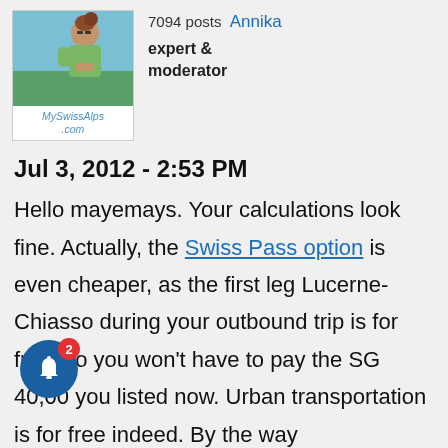[Figure (photo): Profile photo of Annika showing a person from behind with hair up, holding a device, with a blue sky background. Below the photo is the MySwissAlps.com logo.]
7094 posts  Annika
expert &
moderator
Jul 3, 2012 - 2:53 PM
Hello mayemays. Your calculations look fine. Actually, the Swiss Pass option is even cheaper, as the first leg Lucerne-Chiasso during your outbound trip is for free, so you won't have to pay the SG 40,00 you listed now. Urban transportation is for free indeed. By the way